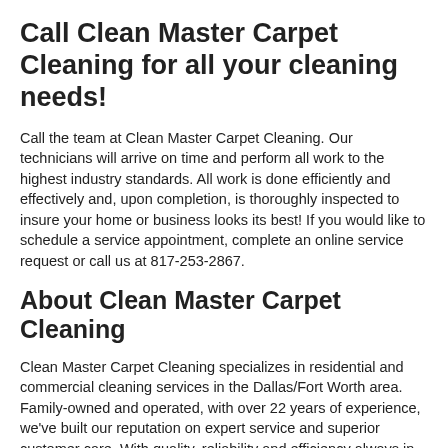Call Clean Master Carpet Cleaning for all your cleaning needs!
Call the team at Clean Master Carpet Cleaning. Our technicians will arrive on time and perform all work to the highest industry standards. All work is done efficiently and effectively and, upon completion, is thoroughly inspected to insure your home or business looks its best! If you would like to schedule a service appointment, complete an online service request or call us at 817-253-2867.
About Clean Master Carpet Cleaning
Clean Master Carpet Cleaning specializes in residential and commercial cleaning services in the Dallas/Fort Worth area. Family-owned and operated, with over 22 years of experience, we've built our reputation on expert service and superior customer care. With quality, reliability and efficiency always in mind, Clean Master Carpet Cleaning is committed to providing outstanding service and quality work to Dallas/Fort Worth home and business owners.
Request our service in the Dallas/Fort Worth (DFW) area today!